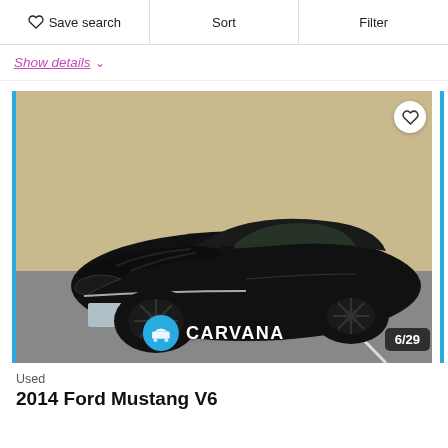Save search | Sort | Filter
Show details
[Figure (photo): Black 2014 Ford Mustang V6 photographed in a parking lot, front three-quarter view. Carvana watermark with teal logo and '6/29' photo counter in bottom right.]
Used
2014 Ford Mustang V6